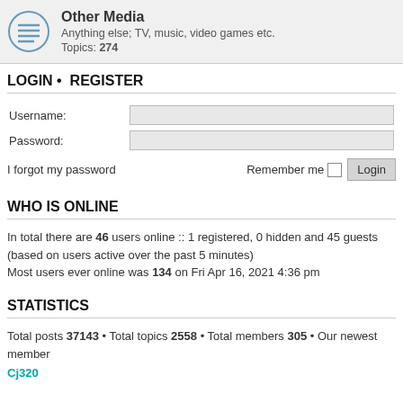[Figure (other): Forum category block: Other Media with icon (circle with lines), description, and topic count]
LOGIN • REGISTER
Username:
Password:
I forgot my password   Remember me   Login
WHO IS ONLINE
In total there are 46 users online :: 1 registered, 0 hidden and 45 guests (based on users active over the past 5 minutes)
Most users ever online was 134 on Fri Apr 16, 2021 4:36 pm
STATISTICS
Total posts 37143 • Total topics 2558 • Total members 305 • Our newest member Cj320